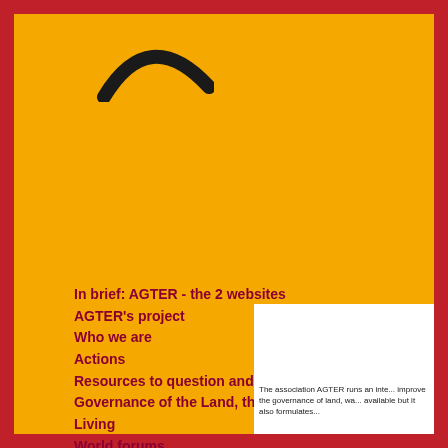[Figure (logo): Partial arc/curve logo shape in dark color on yellow background, top portion of AGTER logo]
In brief: AGTER - the 2 websites
AGTER's project
Who we are
Actions
Resources to question and improve the Governance of the Land, the Water, the Living
World forums
Online training
Thematic meetings
Michel Merlet
The association AGTER runs an inte... improve the governance of land, wa... available but it also formulates...